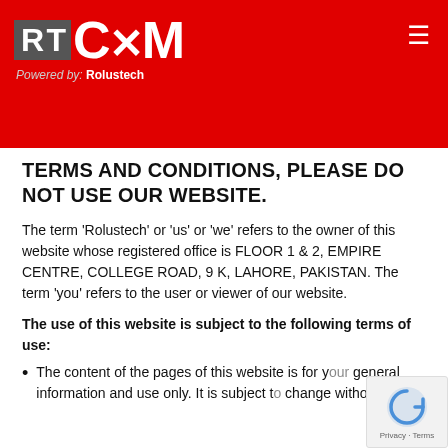[Figure (logo): RT CXM logo in white on red header with Powered by: Rolustech text and hamburger menu]
TERMS AND CONDITIONS, PLEASE DO NOT USE OUR WEBSITE.
The term ‘Rolustech’ or 'us' or 'we' refers to the owner of this website whose registered office is FLOOR 1 & 2, EMPIRE CENTRE, COLLEGE ROAD, 9 K, LAHORE, PAKISTAN. The term 'you' refers to the user or viewer of our website.
The use of this website is subject to the following terms of use:
The content of the pages of this website is for your general information and use only. It is subject to change without notice.